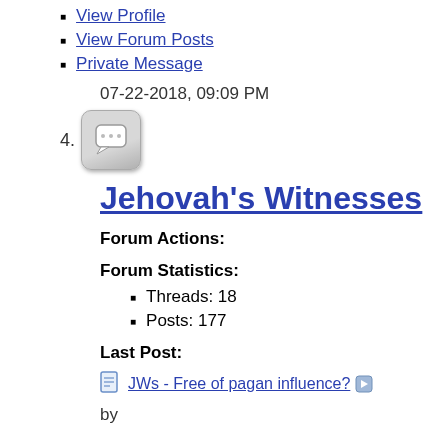View Profile
View Forum Posts
Private Message
07-22-2018, 09:09 PM
4.
Jehovah's Witnesses
Forum Actions:
Forum Statistics:
Threads: 18
Posts: 177
Last Post:
JWs - Free of pagan influence?
by